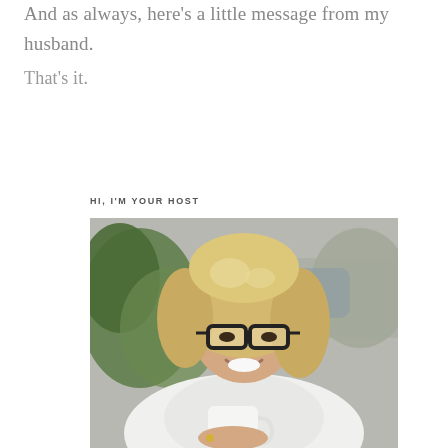And as always, here's a little message from my husband. That's it.
HI, I'M YOUR HOST
[Figure (photo): A smiling blonde woman with dark-rimmed glasses holding a white mug, seated outdoors with green foliage in the background, wearing a white blouse.]